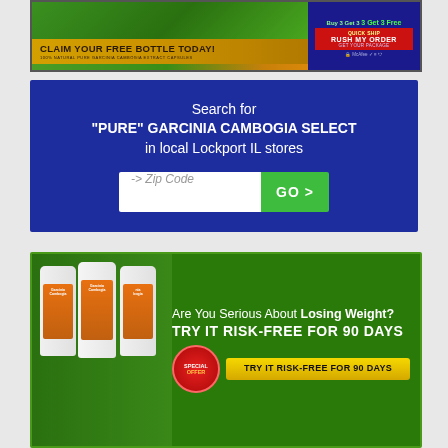[Figure (infographic): Top banner ad for Garcinia Cambogia supplement. Shows 'CLAIM YOUR FREE BOTTLE TODAY! 100% NATURAL PURE GARCINIA CAMBOGIA EXTRACT CAPSULES' with '3 Get 3 Free', 'RUSH MY ORDER GET YOUR PACKAGE', and McAfee security badge on dark blue right side.]
[Figure (infographic): Blue search box with text 'Search for PURE GARCINIA CAMBOGIA SELECT in local Lockport IL stores' with a zip code input field and green GO > button.]
[Figure (infographic): Green banner ad showing Garcinia Cambogia product bottles, text 'Are You Serious About Losing Weight? TRY IT RISK-FREE FOR 90 DAYS', a red SPECIAL OFFER badge, and yellow button 'TRY IT RISK-FREE FOR 90 DAYS'.]